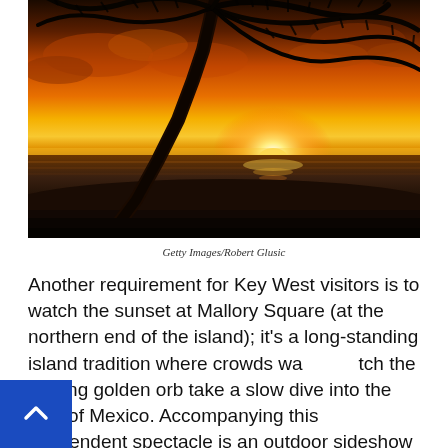[Figure (photo): Tropical sunset beach scene with a palm tree silhouetted against a vivid orange and golden sky, with the sun setting over a calm ocean.]
Getty Images/Robert Glusic
Another requirement for Key West visitors is to watch the sunset at Mallory Square (at the northern end of the island); it's a long-standing island tradition where crowds watch the blazing golden orb take a slow dive into the Gulf of Mexico. Accompanying this resplendent spectacle is an outdoor sideshow where dozens of street performers